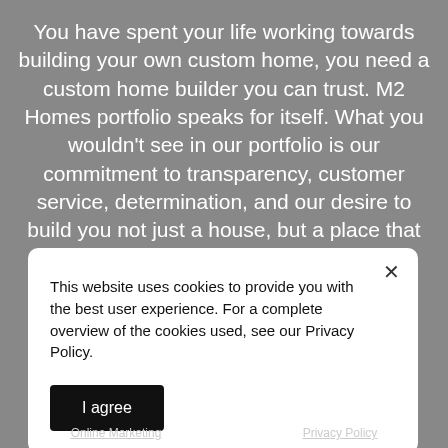You have spent your life working towards building your own custom home, you need a custom home builder you can trust. M2 Homes portfolio speaks for itself. What you wouldn't see in our portfolio is our commitment to transparency, customer service, determination, and our desire to build you not just a house, but a place that you and your family can call home.
This website uses cookies to provide you with the best user experience. For a complete overview of the cookies used, see our Privacy Policy.
I agree
Online Marketing   Privacy Policy